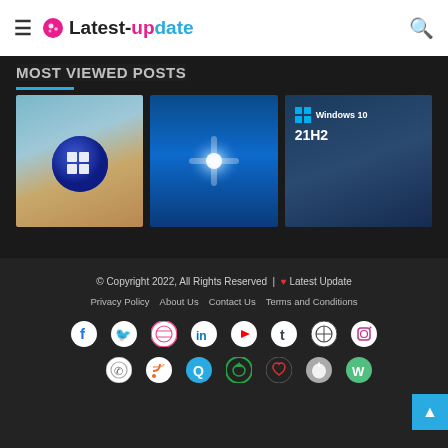Latest-update
Most Viewed Posts
[Figure (screenshot): Three Windows OS thumbnail images side by side: Windows 11 blue orb on sandy background, Windows 7 blue star glow, Windows 10 21H2 dark]
© Copyright 2022, All Rights Reserved | ♥ Latest Update
Privacy Policy | About Us | Contact Us | Terms and Conditions
[Figure (infographic): Social media icons row 1: Facebook, Twitter, Dribbble, LinkedIn, YouTube, Tumblr, WordPress, Instagram]
[Figure (infographic): Social media icons row 2: WhatsApp, RSS, Quora, Generic, Heart/Favorites, Apple, Weebly]